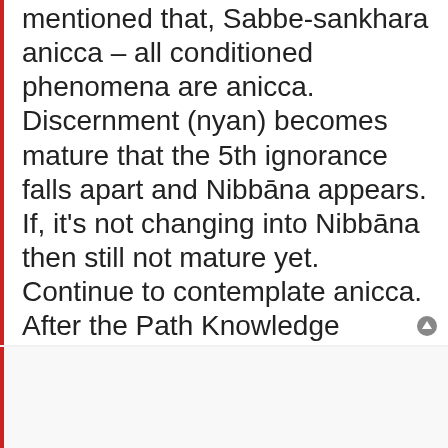mentioned that, Sabbe-sankhara anicca – all conditioned phenomena are anicca. Discernment (nyan) becomes mature that the 5th ignorance falls apart and Nibbāna appears. If, it's not changing into Nibbāna then still not mature yet. Continue to contemplate anicca. After the Path Knowledge (Magga Nyan – Nibbāna) not difficult for entering the fruition state. Like a fire which already has the power of acceleration.
Nalorakk
Dhamma Talks by Mogok Sayadaw--Part 2-4